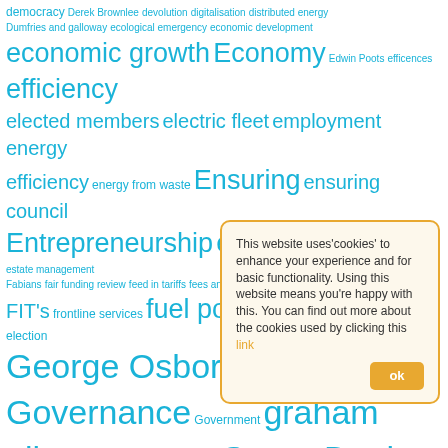[Figure (other): Tag cloud of government and policy-related terms in various sizes rendered in cyan/teal color, partially obscured by a cookie consent modal overlay.]
Cookie consent modal: 'This website uses cookies to enhance your experience and for basic functionality. Using this website means you're happy with this. You can find out more about the cookies used by clicking this link'